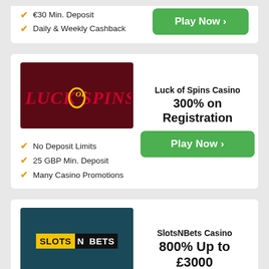€30 Min. Deposit
Daily & Weekly Cashback
Play Now ›
[Figure (logo): Luck of Spins Casino logo on dark red background]
Luck of Spins Casino 300% on Registration
No Deposit Limits
25 GBP Min. Deposit
Many Casino Promotions
Play Now ›
[Figure (logo): SlotsNBets Casino logo on dark teal background]
SlotsNBets Casino 800% Up to £3000
Not on GamStop